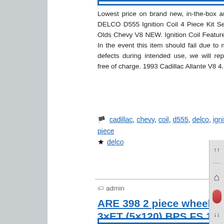[Figure (screenshot): Blue-bordered white box at top of content area]
Lowest price on brand new, in-the-box auto parts. AC DELCO D555 Ignition Coil 4 Piece Kit Set for Cadillac Olds Chevy V8 NEW. Ignition Coil Features & Benefits. In the event this item should fail due to manufacturing defects during intended use, we will replace the part free of charge. 1993 Cadillac Allante V8 4.6L […]
cadillac, chevy, coil, d555, delco, ignition, olds, piece
delco
Next Page »
admin
Comments Off
ARE 398 2 piece wheels 16in 3×ET (5×120) BPS FS 1JM GM CHEVY CAMARO CORVETTE
[Figure (photo): Blue-bordered image at the bottom of the page]